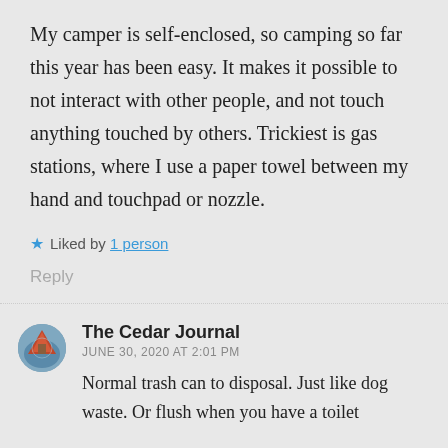My camper is self-enclosed, so camping so far this year has been easy. It makes it possible to not interact with other people, and not touch anything touched by others. Trickiest is gas stations, where I use a paper towel between my hand and touchpad or nozzle.
★ Liked by 1 person
Reply
The Cedar Journal
JUNE 30, 2020 AT 2:01 PM
Normal trash can to disposal. Just like dog waste. Or flush when you have a toilet